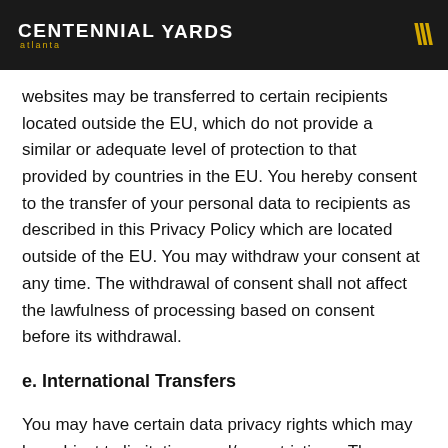CENTENNIAL YARDS atlanta | Logo icon
websites may be transferred to certain recipients located outside the EU, which do not provide a similar or adequate level of protection to that provided by countries in the EU. You hereby consent to the transfer of your personal data to recipients as described in this Privacy Policy which are located outside of the EU. You may withdraw your consent at any time. The withdrawal of consent shall not affect the lawfulness of processing based on consent before its withdrawal.
e. International Transfers
You may have certain data privacy rights which may be subject to limitations and/or restrictions. These rights include the right to: (i) request access to and rectification and erasure of your personal data; (ii) obtain